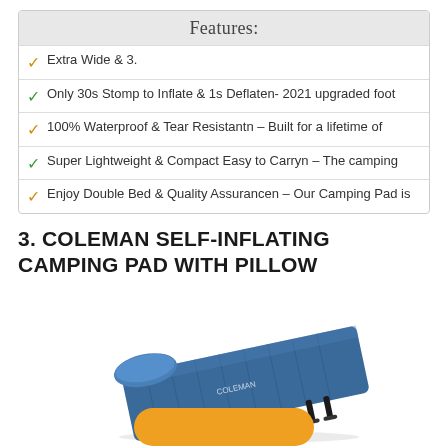Features:
Extra Wide & 3.
Only 30s Stomp to Inflate & 1s Deflaten- 2021 upgraded foot
100% Waterproof & Tear Resistantn – Built for a lifetime of
Super Lightweight & Compact Easy to Carryn – The camping
Enjoy Double Bed & Quality Assurancen – Our Camping Pad is
3. COLEMAN SELF-INFLATING CAMPING PAD WITH PILLOW
[Figure (photo): Blue Coleman self-inflating camping pad with integrated pillow, shown at an angle with black straps at the foot end.]